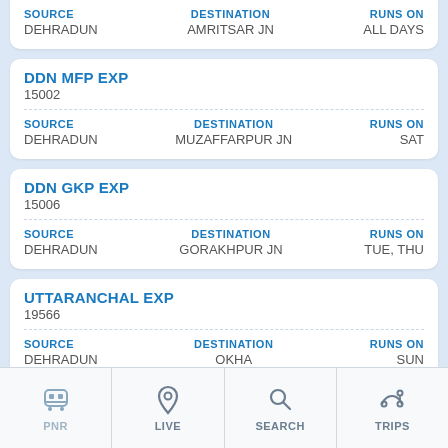| SOURCE | DESTINATION | RUNS ON |
| --- | --- | --- |
| DEHRADUN | AMRITSAR JN | ALL DAYS |
DDN MFP EXP
15002
| SOURCE | DESTINATION | RUNS ON |
| --- | --- | --- |
| DEHRADUN | MUZAFFARPUR JN | SAT |
DDN GKP EXP
15006
| SOURCE | DESTINATION | RUNS ON |
| --- | --- | --- |
| DEHRADUN | GORAKHPUR JN | TUE, THU |
UTTARANCHAL EXP
19566
| SOURCE | DESTINATION | RUNS ON |
| --- | --- | --- |
| DEHRADUN | OKHA | SUN |
DEHRADUN SHATBDI
12016
PNR | LIVE | SEARCH | TRIPS